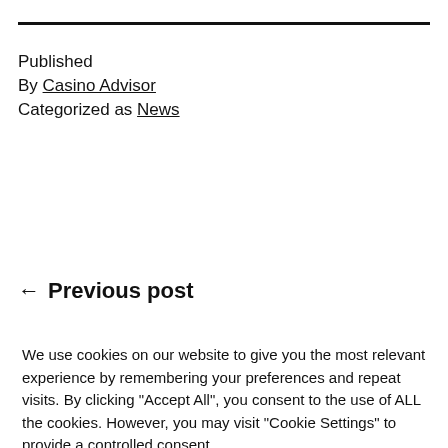Published
By Casino Advisor
Categorized as News
← Previous post
We use cookies on our website to give you the most relevant experience by remembering your preferences and repeat visits. By clicking "Accept All", you consent to the use of ALL the cookies. However, you may visit "Cookie Settings" to provide a controlled consent.